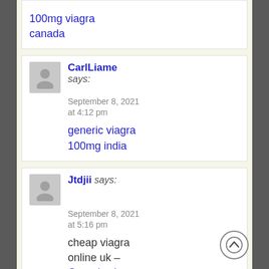100mg viagra canada
CarlLiame says: September 8, 2021 at 4:12 pm
generic viagra 100mg india
Jtdjii says: September 8, 2021 at 5:16 pm
cheap viagra online uk – Generic viagra